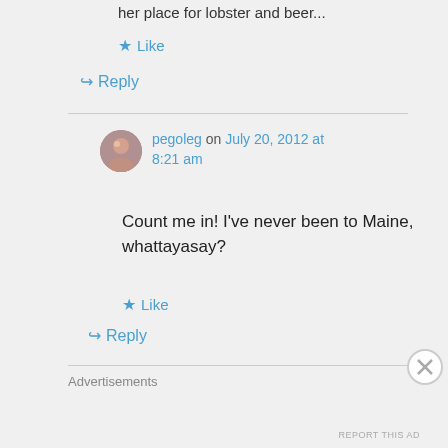her place for lobster and beer...
★ Like
↳ Reply
pegoleg on July 20, 2012 at 8:21 am
Count me in! I've never been to Maine, whattayasay?
★ Like
↳ Reply
Advertisements
REPORT THIS AD